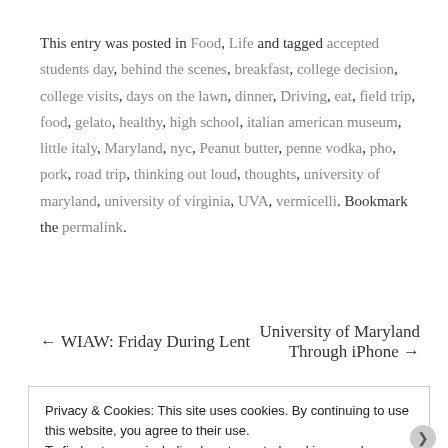This entry was posted in Food, Life and tagged accepted students day, behind the scenes, breakfast, college decision, college visits, days on the lawn, dinner, Driving, eat, field trip, food, gelato, healthy, high school, italian american museum, little italy, Maryland, nyc, Peanut butter, penne vodka, pho, pork, road trip, thinking out loud, thoughts, university of maryland, university of virginia, UVA, vermicelli. Bookmark the permalink.
← WIAW: Friday During Lent
University of Maryland Through iPhone →
Privacy & Cookies: This site uses cookies. By continuing to use this website, you agree to their use.
To find out more, including how to control cookies, see here: Cookie Policy